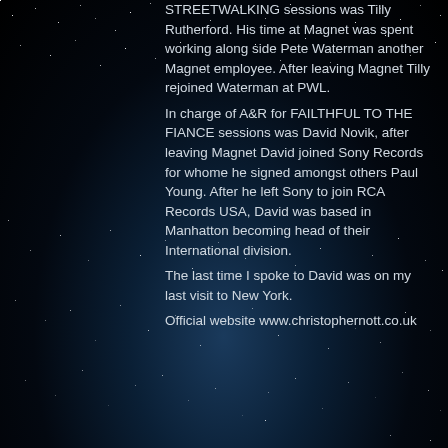STREETWALKING sessions was Tilly Rutherford. His time at Magnet was spent working along side Pete Waterman another Magnet employee. After leaving Magnet Tilly rejoined Waterman at PWL.
In charge of A&R for FAILTHFUL TO THE FIANCE sessions was David Novik, after leaving Magnet David joined Sony Records for whome he signed amongst others Paul Young. After he left Sony to join RCA Records USA, David was based in Manhatton becoming head of their International division.
The last time I spoke to David was on my last visit to New York.
Official website www.christophernott.co.uk